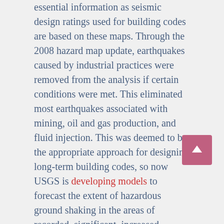essential information as seismic design ratings used for building codes are based on these maps. Through the 2008 hazard map update, earthquakes caused by industrial practices were removed from the analysis if certain conditions were met. This eliminated most earthquakes associated with mining, oil and gas production, and fluid injection. This was deemed to be the appropriate approach for designing long-term building codes, so now USGS is developing models to forecast the extent of hazardous ground shaking in the areas of recorded, significant, increased seismic activity.
A final hazard model is scheduled for release at the end of 2015.
We had a vivid reminder of the relevance of Dr